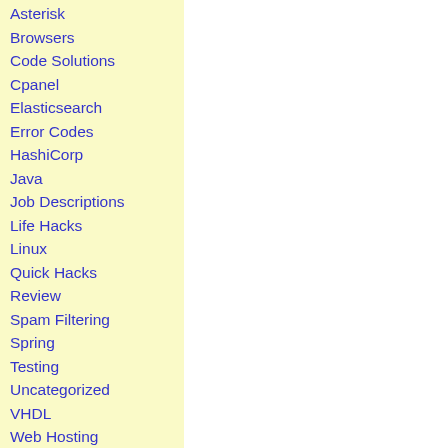Asterisk
Browsers
Code Solutions
Cpanel
Elasticsearch
Error Codes
HashiCorp
Java
Job Descriptions
Life Hacks
Linux
Quick Hacks
Review
Spam Filtering
Spring
Testing
Uncategorized
VHDL
Web Hosting